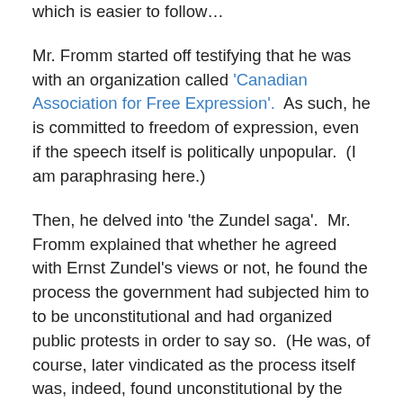which is easier to follow…
Mr. Fromm started off testifying that he was with an organization called 'Canadian Association for Free Expression'.  As such, he is committed to freedom of expression, even if the speech itself is politically unpopular.  (I am paraphrasing here.)
Then, he delved into 'the Zundel saga'.  Mr. Fromm explained that whether he agreed with Ernst Zundel's views or not, he found the process the government had subjected him to to be unconstitutional and had organized public protests in order to say so.  (He was, of course, later vindicated as the process itself was, indeed, found unconstitutional by the courts.)  As a result of these protests, he became the target of the Anti-Racism Association, the ARA, which had played such a significant